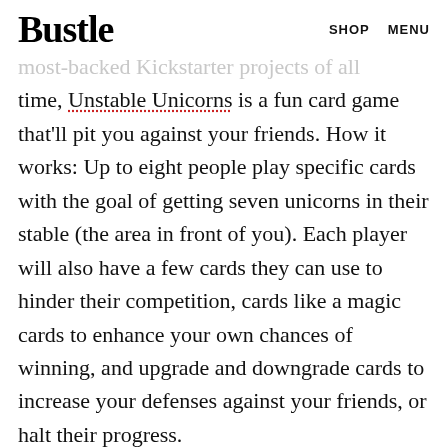Bustle  SHOP  MENU
most-backed Kickstarter projects of all time, Unstable Unicorns is a fun card game that'll pit you against your friends. How it works: Up to eight people play specific cards with the goal of getting seven unicorns in their stable (the area in front of you). Each player will also have a few cards they can use to hinder their competition, cards like a magic cards to enhance your own chances of winning, and upgrade and downgrade cards to increase your defenses against your friends, or halt their progress.
ADVERTISEMENT